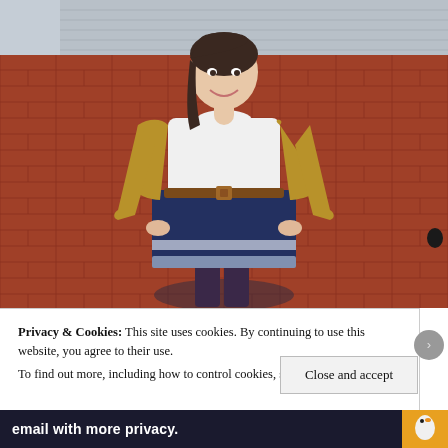[Figure (photo): A young woman with dark hair pulled back, smiling, wearing a white top, mustard yellow cardigan, brown belt, and navy blue skirt with a lighter striped hem. She is standing in front of a red brick wall, with a grey panel or shuttered wall visible at the top.]
Privacy & Cookies: This site uses cookies. By continuing to use this website, you agree to their use.
To find out more, including how to control cookies, see here: Cookie Policy
Close and accept
email with more privacy.